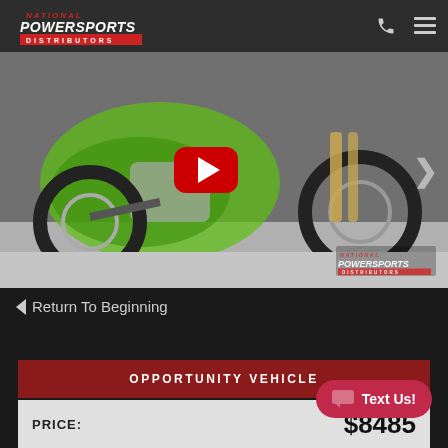National PowerSports Distributors — phone and menu icons
[Figure (photo): Green Kawasaki dirt bike (KX) displayed in a showroom with a YouTube play button overlay and National PowerSports Distributors watermark logo in the lower right corner. A right-arrow navigation chevron is visible on the right edge.]
< Return To Beginning
OPPORTUNITY VEHICLE
PRICE: $8485